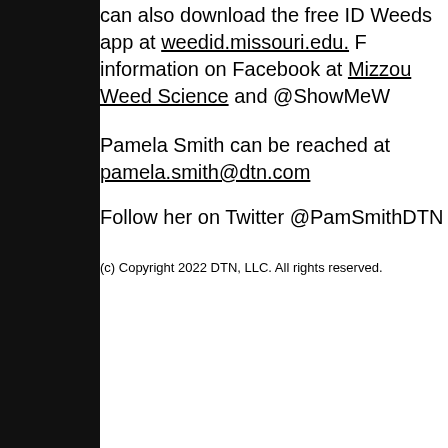can also download the free ID Weeds app at weedid.missouri.edu. F information on Facebook at Mizzou Weed Science and @ShowMeW
Pamela Smith can be reached at pamela.smith@dtn.com
Follow her on Twitter @PamSmithDTN
(c) Copyright 2022 DTN, LLC. All rights reserved.